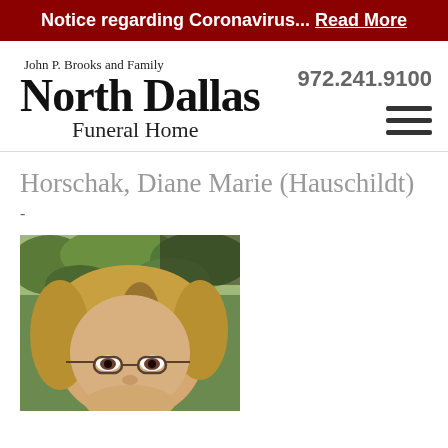Notice regarding Coronavirus... Read More
John P. Brooks and Family North Dallas Funeral Home
972.241.9100
Horschak, Diane Marie (Hauschildt)
-
[Figure (photo): Portrait photo of Diane Marie Horschak (Hauschildt), a woman with blonde hair and glasses, photographed in a car with green foliage visible in the background.]